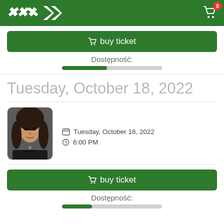XK logo, cart icon with badge 0
buy ticket
Dostępność:
Tuesday, October 18, 2022
[Figure (photo): Portrait photo of a male musician with long brown hair and dark jacket]
Tuesday, October 18, 2022
6:00 PM
buy ticket
Dostępność: